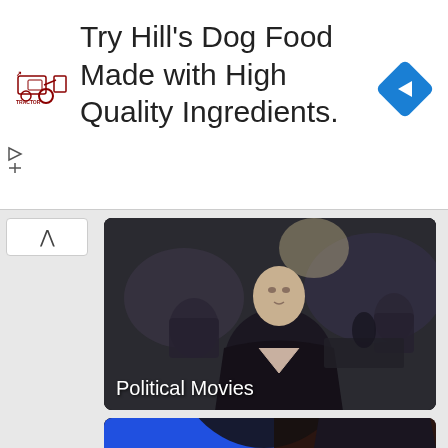[Figure (screenshot): Advertisement banner: Tractor Supply Co logo on left, text 'Try Hill's Dog Food Made with High Quality Ingredients.' in large font, blue navigation diamond icon on right]
[Figure (photo): Movie thumbnail showing a man in dark sweater standing in an office environment, labeled 'Political Movies' in white text]
[Figure (photo): Movie thumbnail partially visible showing a man in suit with colorful Apple-logo style rainbow background, labeled 'Motivating success' in white text]